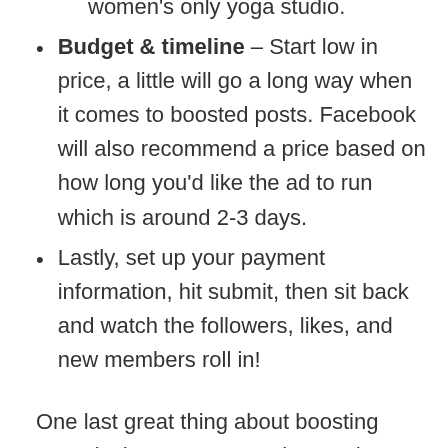want to target a more specific audience such as a women's only yoga studio.
Budget & timeline – Start low in price, a little will go a long way when it comes to boosted posts. Facebook will also recommend a price based on how long you'd like the ad to run which is around 2-3 days.
Lastly, set up your payment information, hit submit, then sit back and watch the followers, likes, and new members roll in!
One last great thing about boosting posts is that once you've boosted one post, Facebook will save your parameters for future posts so that you can easily boost on the fly!
Excited about starting your social media marketing? Here's a short recap video with some extra tips: